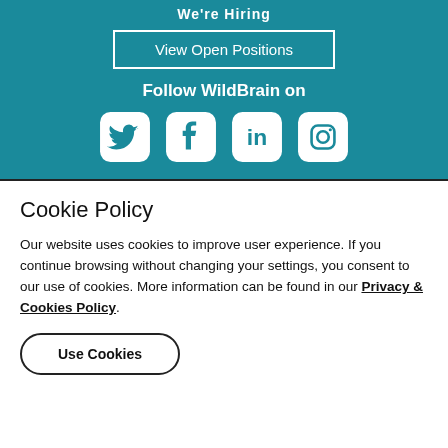We're Hiring
View Open Positions
Follow WildBrain on
[Figure (infographic): Four social media icons: Twitter, Facebook, LinkedIn, Instagram]
Cookie Policy
Our website uses cookies to improve user experience. If you continue browsing without changing your settings, you consent to our use of cookies. More information can be found in our Privacy & Cookies Policy.
Use Cookies